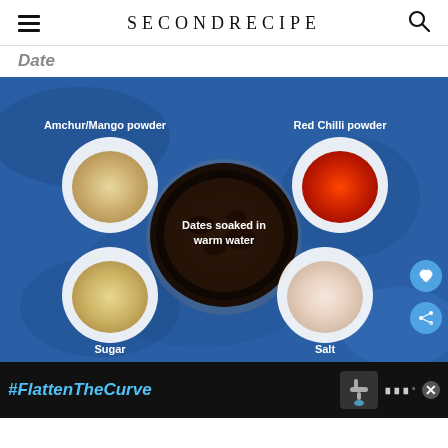SECONDRECIPE
Date
[Figure (photo): Top-down view of ingredients for a date chutney recipe on a blue textured surface: a bowl of Amchur/Mango powder (top left), a bowl of Red Chilli powder (top right), a large bowl of Dates soaked in warm water (center), a bowl of Sugar (bottom left), and a bowl of Salt (bottom right). Labels are overlaid in white text on the photo.]
#FlattenTheCurve